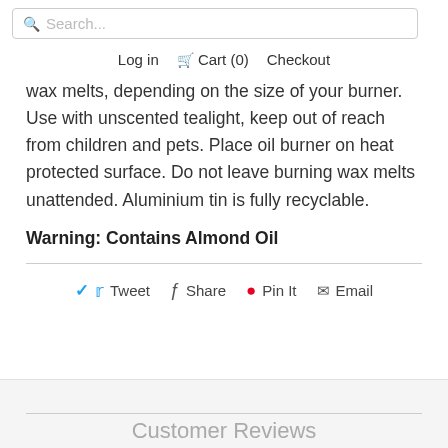Search...
Log in  Cart (0)  Checkout
wax melts, depending on the size of your burner. Use with unscented tealight, keep out of reach from children and pets. Place oil burner on heat protected surface. Do not leave burning wax melts unattended. Aluminium tin is fully recyclable.
Warning: Contains Almond Oil
Tweet  Share  Pin It  Email
Customer Reviews